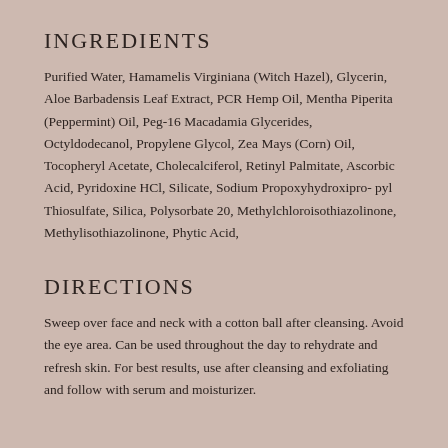INGREDIENTS
Purified Water, Hamamelis Virginiana (Witch Hazel), Glycerin, Aloe Barbadensis Leaf Extract, PCR Hemp Oil, Mentha Piperita (Peppermint) Oil, Peg-16 Macadamia Glycerides, Octyldodecanol, Propylene Glycol, Zea Mays (Corn) Oil, Tocopheryl Acetate, Cholecalciferol, Retinyl Palmitate, Ascorbic Acid, Pyridoxine HCl, Silicate, Sodium Propoxyhydroxipro- pyl Thiosulfate, Silica, Polysorbate 20, Methylchloroisothiazolinone, Methylisothiazolinone, Phytic Acid,
DIRECTIONS
Sweep over face and neck with a cotton ball after cleansing. Avoid the eye area. Can be used throughout the day to rehydrate and refresh skin. For best results, use after cleansing and exfoliating and follow with serum and moisturizer.